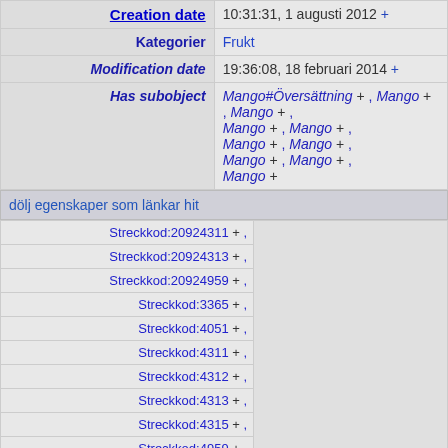| Property | Value |
| --- | --- |
| Creation date | 10:31:31, 1 augusti 2012 + |
| Kategorier | Frukt |
| Modification date | 19:36:08, 18 februari 2014 + |
| Has subobject | Mango#Översättning + , Mango + , Mango + , Mango + , Mango + , Mango + , Mango + , Mango + , Mango + , Mango + |
dölj egenskaper som länkar hit
| Links |  |
| --- | --- |
| Streckkod:20924311 + , |  |
| Streckkod:20924313 + , |  |
| Streckkod:20924959 + , |  |
| Streckkod:3365 + , |  |
| Streckkod:4051 + , |  |
| Streckkod:4311 + , |  |
| Streckkod:4312 + , |  |
| Streckkod:4313 + , |  |
| Streckkod:4315 + , |  |
| Streckkod:4959 + , |  |
| Streckkod:7318690056720 + | Artikel |